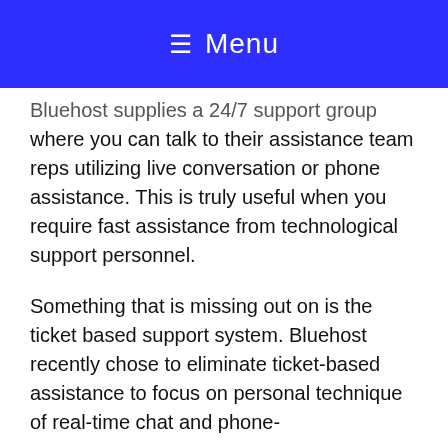≡ Menu
Bluehost supplies a 24/7 support group where you can talk to their assistance team reps utilizing live conversation or phone assistance. This is truly useful when you require fast assistance from technological support personnel.
Something that is missing out on is the ticket based support system. Bluehost recently chose to eliminate ticket-based assistance to focus on personal technique of real-time chat and phone-